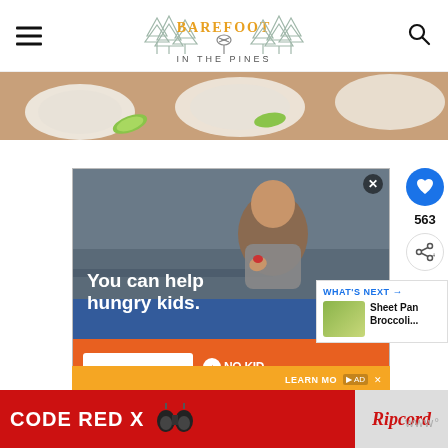BAREFOOT IN THE PINES
[Figure (photo): Food photo strip showing plates with food items and lime slices on a wooden surface]
[Figure (photo): Advertisement for No Kid Hungry showing a young child eating with text 'You can help hungry kids.' over an orange banner]
[Figure (photo): What's Next panel showing Sheet Pan Broccoli thumbnail]
563
[Figure (photo): Advertisement: CODE RED X with Ripcord Arrow Rest product and binoculars image]